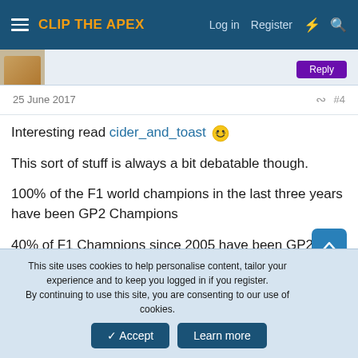CLIP THE APEX — Log in  Register
25 June 2017   #4
Interesting read cider_and_toast 😛
This sort of stuff is always a bit debatable though.
100% of the F1 world champions in the last three years have been GP2 Champions
40% of F1 Champions since 2005 have been GP2 Champions
60% of F1 Champions since 2005 have driven in GP2 or F3000
This site uses cookies to help personalise content, tailor your experience and to keep you logged in if you register.
By continuing to use this site, you are consenting to our use of cookies.